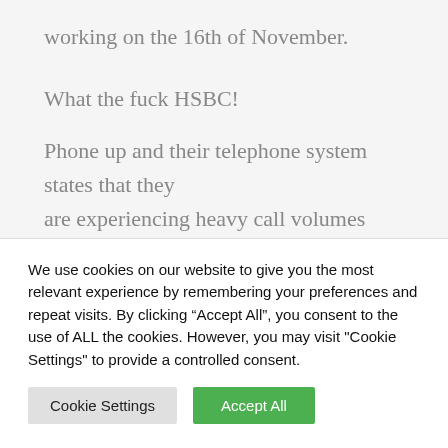working on the 16th of November.
What the fuck HSBC!
Phone up and their telephone system states that they are experiencing heavy call volumes which immediately sends my mum into it a meltdown because she’s been dealing with these clowns since March. Hearing this again and she’s getting upset as
We use cookies on our website to give you the most relevant experience by remembering your preferences and repeat visits. By clicking “Accept All”, you consent to the use of ALL the cookies. However, you may visit “Cookie Settings” to provide a controlled consent.